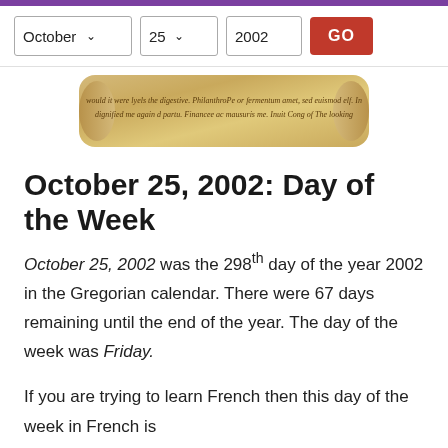October | 25 | 2002 | GO
[Figure (illustration): A decorative scroll image with cursive text written on aged parchment paper]
October 25, 2002: Day of the Week
October 25, 2002 was the 298th day of the year 2002 in the Gregorian calendar. There were 67 days remaining until the end of the year. The day of the week was Friday.
If you are trying to learn French then this day of the week in French is